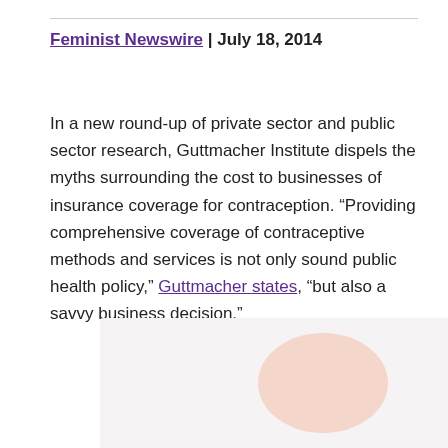Feminist Newswire | July 18, 2014
In a new round-up of private sector and public sector research, Guttmacher Institute dispels the myths surrounding the cost to businesses of insurance coverage for contraception. “Providing comprehensive coverage of contraceptive methods and services is not only sound public health policy,” Guttmacher states, “but also a savvy business decision.”
[Figure (other): Light gray background panel with a peach/salmon colored partial circle decoration in the lower right area.]